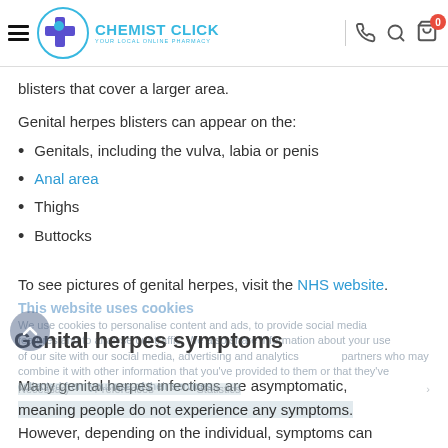Chemist Click — Your Local Online Pharmacy
blisters that cover a larger area.
Genital herpes blisters can appear on the:
Genitals, including the vulva, labia or penis
Anal area
Thighs
Buttocks
To see pictures of genital herpes, visit the NHS website.
Genital herpes symptoms
Many genital herpes infections are asymptomatic, meaning people do not experience any symptoms. However, depending on the individual, symptoms can